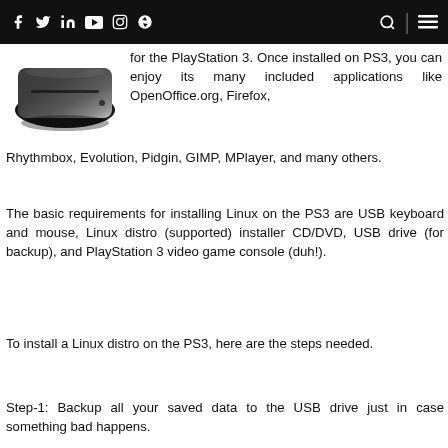f  y  in  ▶  ○  )))   🔍  ≡
[Figure (photo): Photo of a PlayStation 3 console, black, shown from top-front angle]
for the PlayStation 3. Once installed on PS3, you can enjoy its many included applications like OpenOffice.org, Firefox, Rhythmbox, Evolution, Pidgin, GIMP, MPlayer, and many others.
The basic requirements for installing Linux on the PS3 are USB keyboard and mouse, Linux distro (supported) installer CD/DVD, USB drive (for backup), and PlayStation 3 video game console (duh!).
To install a Linux distro on the PS3, here are the steps needed.
Step-1: Backup all your saved data to the USB drive just in case something bad happens.